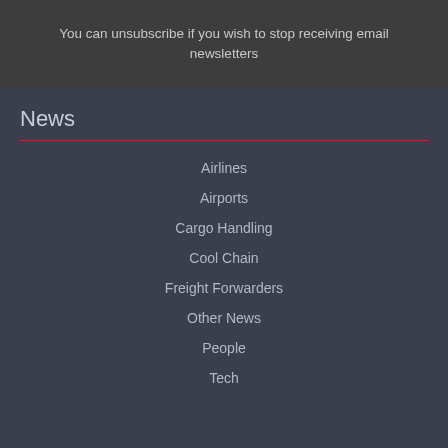You can unsubscribe if you wish to stop receiving email newsletters
News
Airlines
Airports
Cargo Handling
Cool Chain
Freight Forwarders
Other News
People
Tech